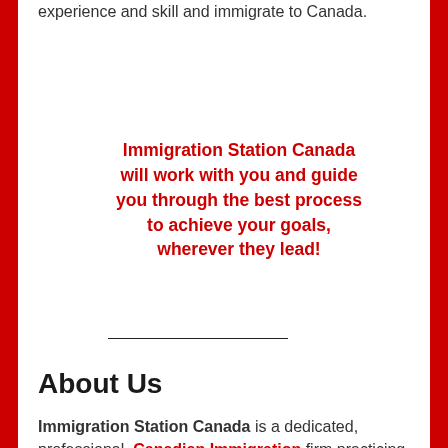experience and skill and immigrate to Canada.
Immigration Station Canada will work with you and guide you through the best process to achieve your goals, wherever they lead!
About Us
Immigration Station Canada is a dedicated, professional Canadian Immigration firm practicing out of